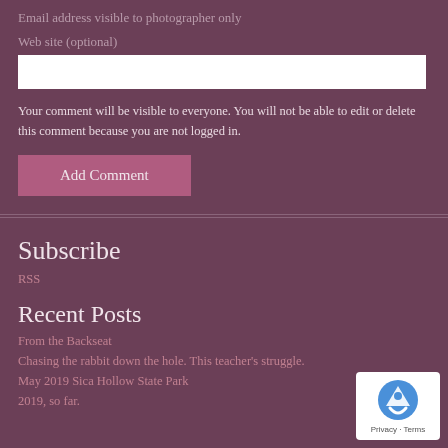Email address visible to photographer only
Web site (optional)
Your comment will be visible to everyone. You will not be able to edit or delete this comment because you are not logged in.
Add Comment
Subscribe
RSS
Recent Posts
From the Backseat
Chasing the rabbit down the hole. This teacher's struggle.
May 2019 Sica Hollow State Park
2019, so far.